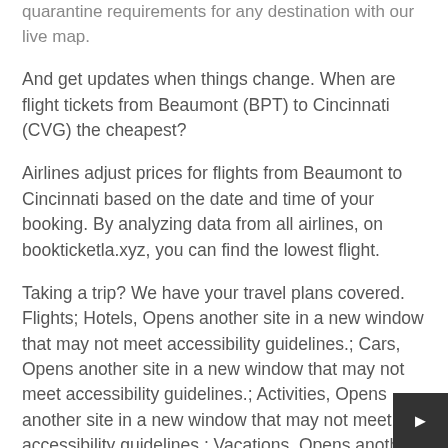quarantine requirements for any destination with our live map.
And get updates when things change. When are flight tickets from Beaumont (BPT) to Cincinnati (CVG) the cheapest?
Airlines adjust prices for flights from Beaumont to Cincinnati based on the date and time of your booking. By analyzing data from all airlines, on bookticketla.xyz, you can find the lowest flight.
Taking a trip? We have your travel plans covered. Flights; Hotels, Opens another site in a new window that may not meet accessibility guidelines.; Cars, Opens another site in a new window that may not meet accessibility guidelines.; Activities, Opens another site in a new window that may not meet accessibility guidelines.; Vacations, Opens another site in a new window that may not meet.
The additional cost for this pilgrimage isIn Case of an Emergency please provide us with a name, phone number, and email address of someone we can contact. Enrollment in the tour constitutes your acceptance of the program Terms and Conditions. Once your Reservation Form is received we will check flight availability, and confirm the. Book your cheap flig